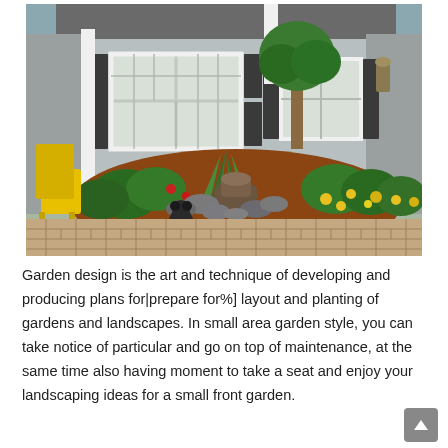[Figure (photo): A front yard garden landscaping photo showing a gray house with white trim windows, a round garden bed with a decorative clay pot, river rocks, agave plants, yellow marigolds and green shrubs, red mulch, and a brick paver driveway. A yellow Adirondack chair and a bear figurine are visible on the left side.]
Garden design is the art and technique of developing and producing plans for|prepare for%] layout and planting of gardens and landscapes. In small area garden style, you can take notice of particular and go on top of maintenance, at the same time also having moment to take a seat and enjoy your landscaping ideas for a small front garden.